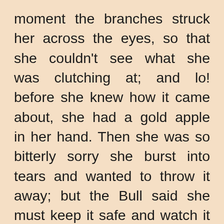moment the branches struck her across the eyes, so that she couldn't see what she was clutching at; and lo! before she knew how it came about, she had a gold apple in her hand. Then she was so bitterly sorry she burst into tears and wanted to throw it away; but the Bull said she must keep it safe and watch it well, and comforted her as well as he could; but he thought it